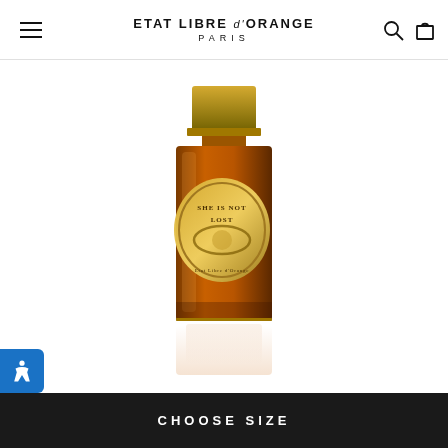ETAT LIBRE d'ORANGE PARIS
[Figure (photo): Amber glass rectangular perfume bottle with gold cap and large oval gold medallion label reading 'SHE IS NOT LOST - Etat Libre d'Orange'. The bottle is shown with its reflection on a white surface.]
CHOOSE SIZE